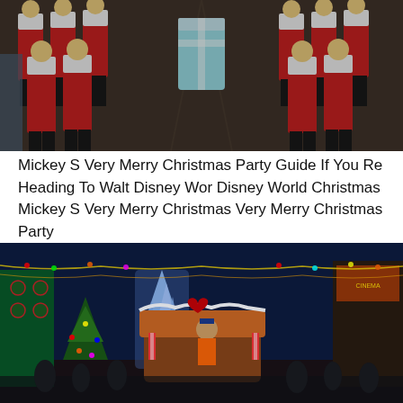[Figure (photo): Rows of toy soldier statues in red and white uniforms standing on a street with tram tracks, viewed from a central perspective]
Mickey S Very Merry Christmas Party Guide If You Re Heading To Walt Disney Wor Disney World Christmas Mickey S Very Merry Christmas Very Merry Christmas Party
[Figure (photo): Disney World Christmas parade at night with colorful lights, decorated floats, gingerbread house float, illuminated Cinderella castle in background, Christmas decorations lining the street]